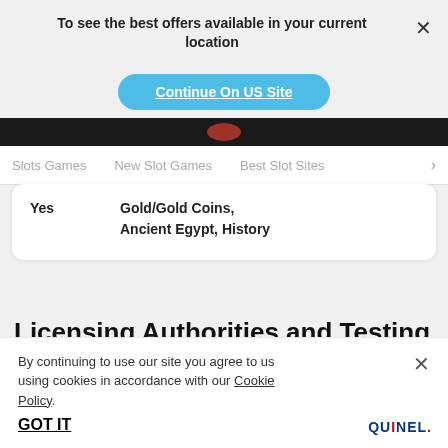To see the best offers available in your current location
Continue On US Site
Slots Games   New Slot Games   Best Slot Sites  >
Yes
Gold/Gold Coins, Ancient Egypt, History
Licensing Authorities and Testing
By continuing to use our site you agree to us using cookies in accordance with our Cookie Policy.
GOT IT
[Figure (logo): QUINEL logo in blue and red letters]